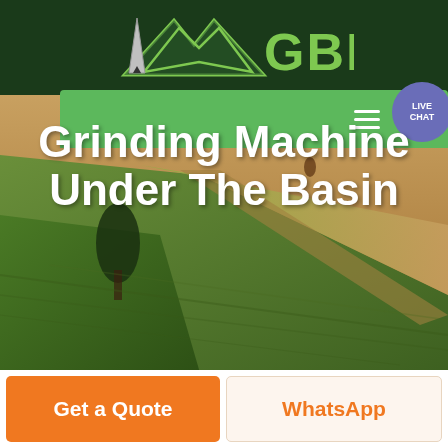[Figure (logo): GBM logo with green mountain/arrow icon and green GBM text on dark green background]
[Figure (screenshot): Green navigation bar with hamburger menu icon and Live Chat speech bubble button on the right]
[Figure (photo): Aerial view of agricultural fields with green and yellow-brown sections, a lone tree visible on the left side]
Grinding Machine Under The Basin
Get a Quote
WhatsApp